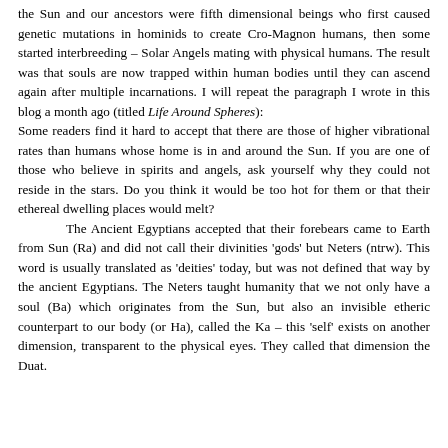This website takes its name from the fact that our origins are in the Sun and our ancestors were fifth dimensional beings who first caused genetic mutations in hominids to create Cro-Magnon humans, then some started interbreeding – Solar Angels mating with physical humans. The result was that souls are now trapped within human bodies until they can ascend again after multiple incarnations. I will repeat the paragraph I wrote in this blog a month ago (titled Life Around Spheres):
Some readers find it hard to accept that there are those of higher vibrational rates than humans whose home is in and around the Sun. If you are one of those who believe in spirits and angels, ask yourself why they could not reside in the stars. Do you think it would be too hot for them or that their ethereal dwelling places would melt?
	The Ancient Egyptians accepted that their forebears came to Earth from Sun (Ra) and did not call their divinities 'gods' but Neters (ntrw). This word is usually translated as 'deities' today, but was not defined that way by the ancient Egyptians. The Neters taught humanity that we not only have a soul (Ba) which originates from the Sun, but also an invisible etheric counterpart to our body (or Ha), called the Ka – this 'self' exists on another dimension, transparent to the physical eyes. They called that dimension the Duat.